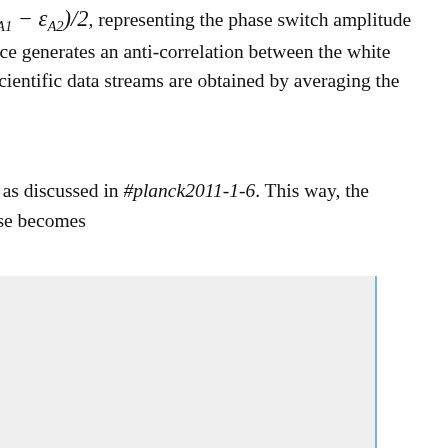which is identical for the two diodes apart from the sign of the term (ε_A1 − ε_A2)/2, representing the phase switch amplitude imbalance. This indicates that the isolation loss caused by this imbalance generates an anti-correlation between the white noise levels of the single-diode data streams. For this reason, the LFI scientific data streams are obtained by averaging the voltage outputs from the two diodes in each radiometer:
where w_1 and w_2 are inverse-variance weights calculated from the data as discussed in #planck2011-1-6. This way, the diode-diode anti-correlation is cancelled, and the radiometer white noise becomes